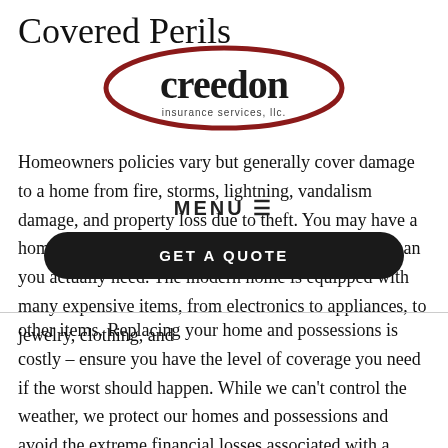Covered Perils
[Figure (logo): Creedon Insurance Services, LLC logo with oval swoosh in dark red]
Homeowners policies vary but generally cover damage to a home from fire, storms, lightning, vandalism damage, and property loss due to theft. You may have a homeowners insurance policy with limits far lower than you actually need. The modern home is equipped with many expensive items, from electronics to appliances, to jewelry, clothing, and other items. Replacing your home and possessions is costly – ensure you have the level of coverage you need if the worst should happen. While we can't control the weather, we protect our homes and possessions and avoid the extreme financial losses associated with a natural disaster.